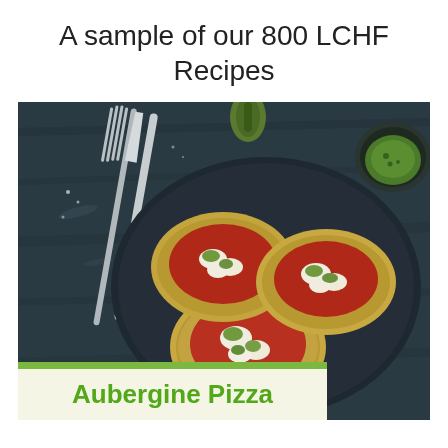A sample of our 800 LCHF Recipes
[Figure (photo): A dark plate with three aubergine pizza rounds topped with tomato sauce, melted mozzarella, and green herbs/pesto, with a knife and fork on the left and a small bowl of green sauce in the top right corner, all on a dark wooden surface.]
Aubergine Pizza